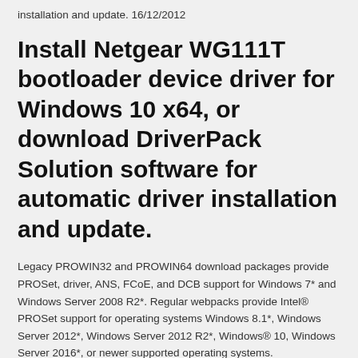installation and update. 16/12/2012
Install Netgear WG111T bootloader device driver for Windows 10 x64, or download DriverPack Solution software for automatic driver installation and update.
Legacy PROWIN32 and PROWIN64 download packages provide PROSet, driver, ANS, FCoE, and DCB support for Windows 7* and Windows Server 2008 R2*. Regular webpacks provide Intel® PROSet support for operating systems Windows 8.1*, Windows Server 2012*, Windows Server 2012 R2*, Windows® 10, Windows Server 2016*, or newer supported operating systems.